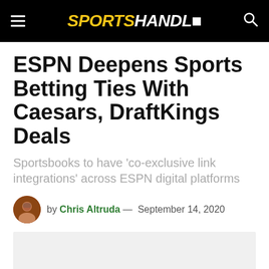SPORTS HANDLE
ESPN Deepens Sports Betting Ties With Caesars, DraftKings Deals
Sportsbooks to have 'co-exclusive link integrations' across ESPN digital platforms
by Chris Altruda — September 14, 2020
[Figure (photo): Article featured image placeholder (light gray background)]